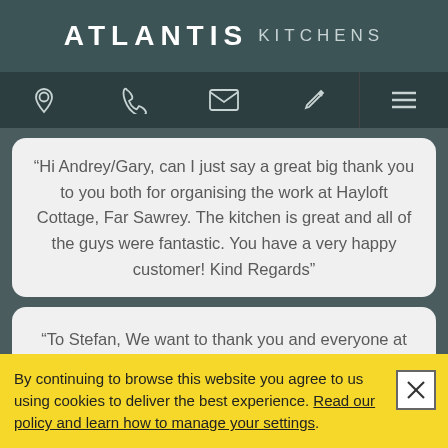ATLANTIS KITCHENS
[Figure (screenshot): Navigation bar with location, phone, email, pen/edit icons and hamburger menu]
“Hi Andrey/Gary, can I just say a great big thank you to you both for organising the work at Hayloft Cottage, Far Sawrey. The kitchen is great and all of the guys were fantastic. You have a very happy customer! Kind Regards”
“To Stefan, We want to thank you and everyone at Atlantis for the excellent
By continuing to browse this website you agree to us using cookies to deliver the best experience. Read our policy and learn how to manage your settings.